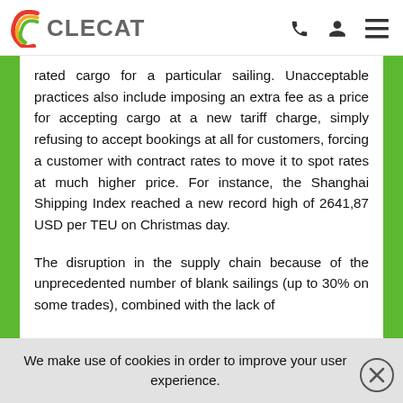CLECAT
rated cargo for a particular sailing. Unacceptable practices also include imposing an extra fee as a price for accepting cargo at a new tariff charge, simply refusing to accept bookings at all for customers, forcing a customer with contract rates to move it to spot rates at much higher price. For instance, the Shanghai Shipping Index reached a new record high of 2641,87 USD per TEU on Christmas day.
The disruption in the supply chain because of the unprecedented number of blank sailings (up to 30% on some trades), combined with the lack of
We make use of cookies in order to improve your user experience.